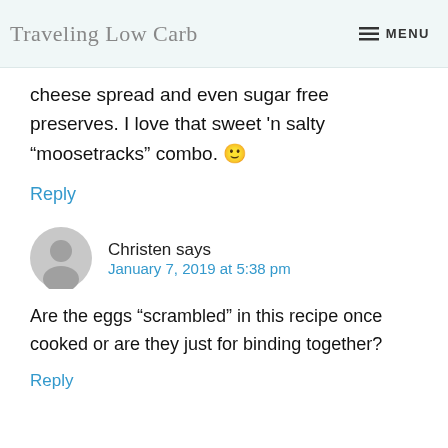Traveling Low Carb   MENU
cheese spread and even sugar free preserves. I love that sweet 'n salty “moosetracks” combo. 🙂
Reply
Christen says
January 7, 2019 at 5:38 pm
Are the eggs “scrambled” in this recipe once cooked or are they just for binding together?
Reply